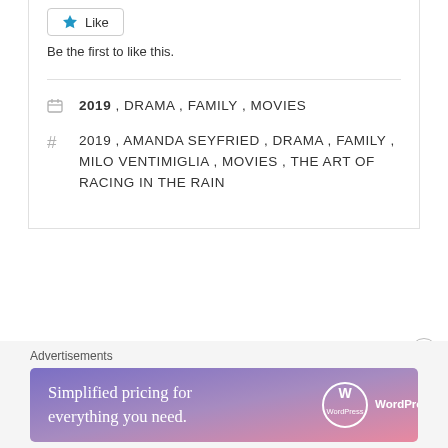Like
Be the first to like this.
2019 , DRAMA , FAMILY , MOVIES
2019 , AMANDA SEYFRIED , DRAMA , FAMILY , MILO VENTIMIGLIA , MOVIES , THE ART OF RACING IN THE RAIN
Advertisements
[Figure (illustration): WordPress.com advertisement banner with gradient purple-pink background. Text reads: Simplified pricing for everything you need. WordPress.com logo on right.]